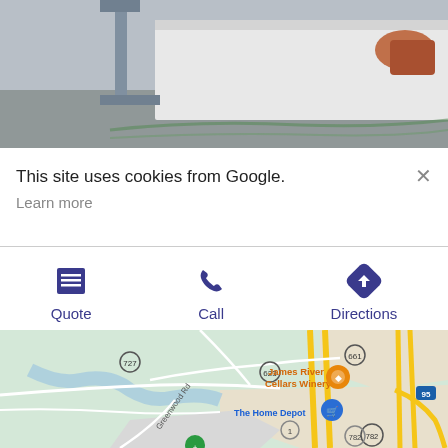[Figure (photo): Person handling a large white marble or stone slab outdoors]
This site uses cookies from Google.
Learn more
[Figure (infographic): Three action buttons: Quote (list icon), Call (phone icon), Directions (arrow sign icon)]
[Figure (map): Google map showing James River Cellars Winery, The Home Depot, highways 661, 727, 623, 782, 95, 1, and Greenwood Rd]